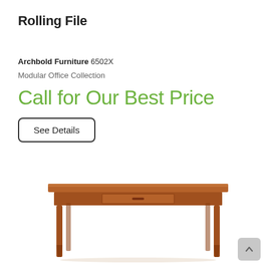Rolling File
Archbold Furniture 6502X
Modular Office Collection
Call for Our Best Price
See Details
[Figure (photo): A wooden rolling file / desk table with tapered legs and a center drawer, shown in a medium brown cherry finish, on a white background.]